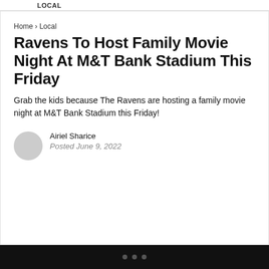LOCAL
Home › Local
Ravens To Host Family Movie Night At M&T Bank Stadium This Friday
Grab the kids because The Ravens are hosting a family movie night at M&T Bank Stadium this Friday!
Airiel Sharice
Posted June 9, 2022